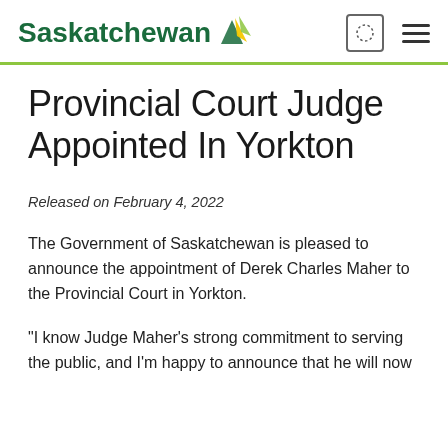Saskatchewan
Provincial Court Judge Appointed In Yorkton
Released on February 4, 2022
The Government of Saskatchewan is pleased to announce the appointment of Derek Charles Maher to the Provincial Court in Yorkton.
"I know Judge Maher's strong commitment to serving the public, and I'm happy to announce that he will now